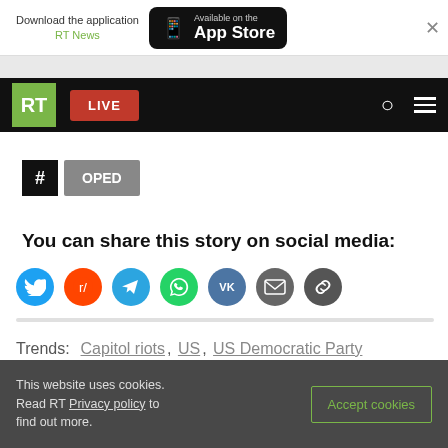[Figure (screenshot): App Store download banner with RT News app promotion]
[Figure (screenshot): RT website navigation bar with logo, LIVE button, search and menu icons]
# OPED
You can share this story on social media:
[Figure (infographic): Social media share icons: Twitter, Reddit, Telegram, WhatsApp, VK, Email, Link]
Trends: Capitol riots, US, US Democratic Party
This website uses cookies. Read RT Privacy policy to find out more. Accept cookies